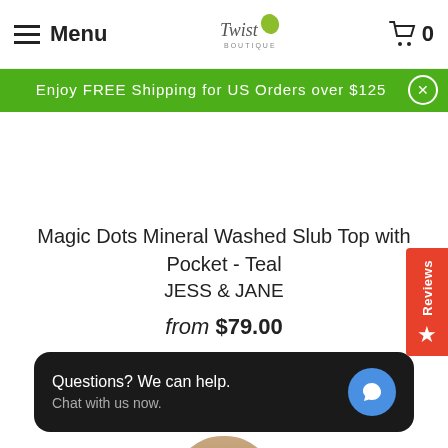Menu | Twist Boutique | 0
Enjoy FREE Shipping for US Orders over $125
Magic Dots Mineral Washed Slub Top with Pocket - Teal
JESS & JANE
from $79.00
Questions? We can help.
Chat with us now.